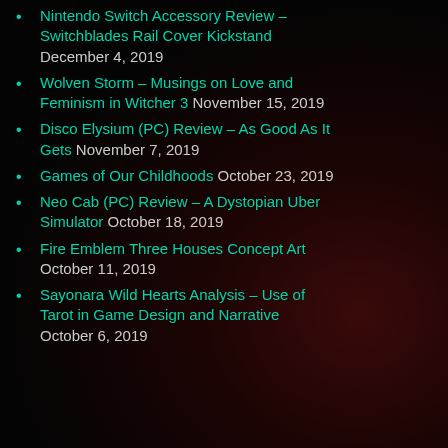Nintendo Switch Accessory Review – Switchblades Rail Cover Kickstand December 4, 2019
Wolven Storm – Musings on Love and Feminism in Witcher 3 November 15, 2019
Disco Elysium (PC) Review – As Good As It Gets November 7, 2019
Games of Our Childhoods October 23, 2019
Neo Cab (PC) Review – A Dystopian Uber Simulator October 18, 2019
Fire Emblem Three Houses Concept Art October 11, 2019
Sayonara Wild Hearts Analysis – Use of Tarot in Game Design and Narrative October 6, 2019